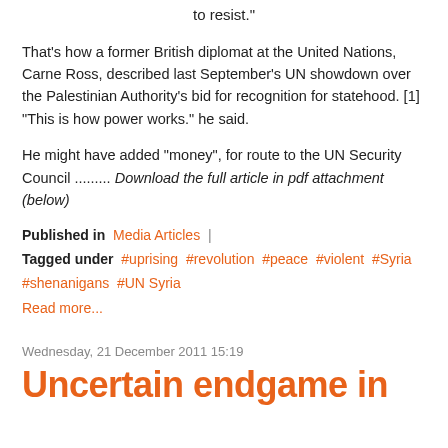to resist."
That's how a former British diplomat at the United Nations, Carne Ross, described last September's UN showdown over the Palestinian Authority's bid for recognition for statehood. [1] "This is how power works." he said.
He might have added "money", for route to the UN Security Council ......... Download the full article in pdf attachment (below)
Published in  Media Articles |
Tagged under  #uprising  #revolution  #peace  #violent  #Syria  #shenanigans  #UN Syria
Read more...
Wednesday, 21 December 2011 15:19
Uncertain endgame in